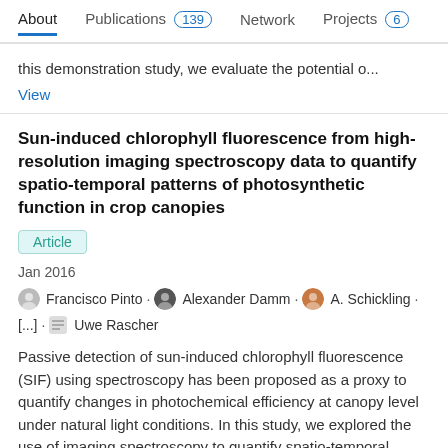About  Publications 139  Network  Projects 6
this demonstration study, we evaluate the potential o...
View
Sun-induced chlorophyll fluorescence from high-resolution imaging spectroscopy data to quantify spatio-temporal patterns of photosynthetic function in crop canopies
Article
Jan 2016
Francisco Pinto · Alexander Damm · A. Schickling · [...] · Uwe Rascher
Passive detection of sun-induced chlorophyll fluorescence (SIF) using spectroscopy has been proposed as a proxy to quantify changes in photochemical efficiency at canopy level under natural light conditions. In this study, we explored the use of imaging spectroscopy to quantify spatio-temporal dynamics of SIF within crop canopies and its sensitivit...
View